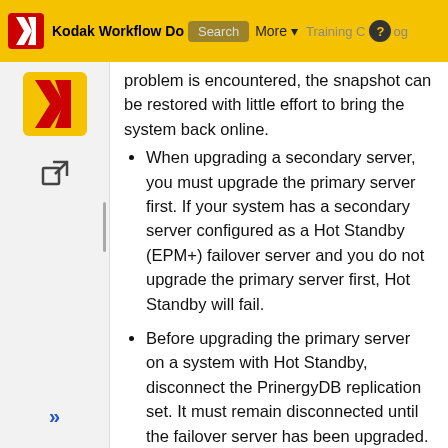Kodak Workflow Documentation | Search | More | Training C... | Log
problem is encountered, the snapshot can be restored with little effort to bring the system back online.
When upgrading a secondary server, you must upgrade the primary server first. If your system has a secondary server configured as a Hot Standby (EPM+) failover server and you do not upgrade the primary server first, Hot Standby will fail.
Before upgrading the primary server on a system with Hot Standby, disconnect the PrinergyDB replication set. It must remain disconnected until the failover server has been upgraded. Once the upgrade of the failover server is completed, reconnect the replication set. For additional information, see Upgrading the servers in a Prinergy Hot Standby system running on Windows 2008 R2 operating system with Double-